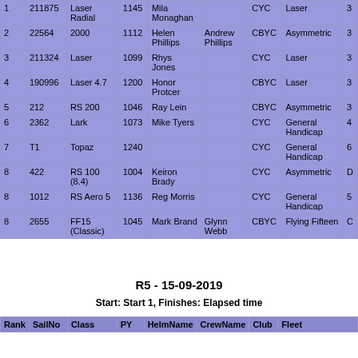| Rank | SailNo | Class | PY | HelmName | CrewName | Club | Fleet |  |
| --- | --- | --- | --- | --- | --- | --- | --- | --- |
| 1 | 211875 | Laser Radial | 1145 | Mila Monaghan |  | CYC | Laser | 3 |
| 2 | 22564 | 2000 | 1112 | Helen Phillips | Andrew Phillips | CBYC | Asymmetric | 3 |
| 3 | 211324 | Laser | 1099 | Rhys Jones |  | CYC | Laser | 3 |
| 4 | 190996 | Laser 4.7 | 1200 | Honor Protcer |  | CBYC | Laser | 3 |
| 5 | 212 | RS 200 | 1046 | Ray Lein |  | CBYC | Asymmetric | 3 |
| 6 | 2362 | Lark | 1073 | Mike Tyers |  | CYC | General Handicap | 4 |
| 7 | T1 | Topaz | 1240 |  |  | CYC | General Handicap | 6 |
| 8 | 422 | RS 100 (8.4) | 1004 | Keiron Brady |  | CYC | Asymmetric | D |
| 8 | 1012 | RS Aero 5 | 1136 | Reg Morris |  | CYC | General Handicap | 5 |
| 8 | 2655 | FF15 (Classic) | 1045 | Mark Brand | Glynn Webb | CBYC | Flying Fifteen | C |
R5 - 15-09-2019
Start: Start 1, Finishes: Elapsed time
| Rank | SailNo | Class | PY | HelmName | CrewName | Club | Fleet |
| --- | --- | --- | --- | --- | --- | --- | --- |